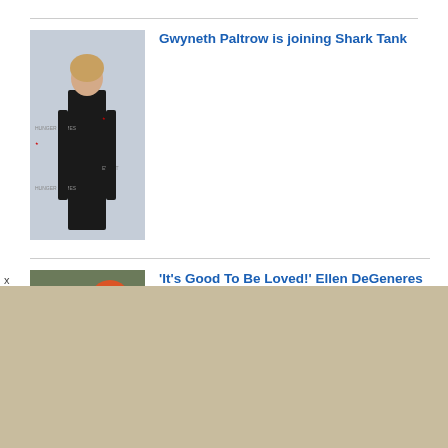[Figure (photo): Gwyneth Paltrow in black dress at event backdrop]
Gwyneth Paltrow is joining Shark Tank
[Figure (photo): Ellen DeGeneres smiling at event with colorful balloons]
'It's Good To Be Loved!' Ellen DeGeneres Celebrates Anniversary With Portia de Rossi After It's Revealed She Won't Be Invited To Ex Anne Heche's Funeral
[Figure (photo): Princess Diana smiling in crowd]
New Handwritten Notes & Letter Reveal Princess Diana Predicted She May Be Killed In A 'Staged